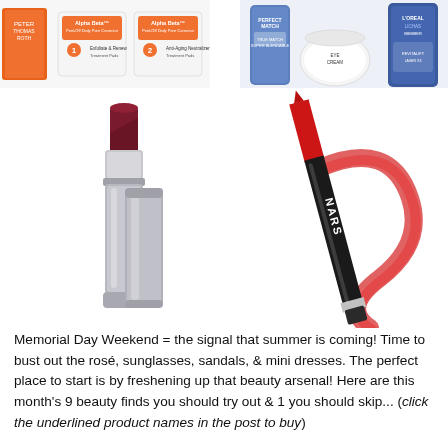[Figure (photo): Orange skincare product box with two-step system packets labeled 1 and 2]
[Figure (photo): Blue cosmetic bottles including L'Oreal Perfect Match and related products]
[Figure (photo): Silver metallic lipstick tube open showing dark burgundy/wine colored lipstick]
[Figure (photo): NARS red lip pencil/crayon with red swatch stroke on white background]
Memorial Day Weekend = the signal that summer is coming!  Time to bust out the rosé, sunglasses, sandals, & mini dresses.  The perfect place to start is by freshening up that beauty arsenal!  Here are this month's 9 beauty finds you should try out & 1 you should skip... (click the underlined product names in the post to buy)